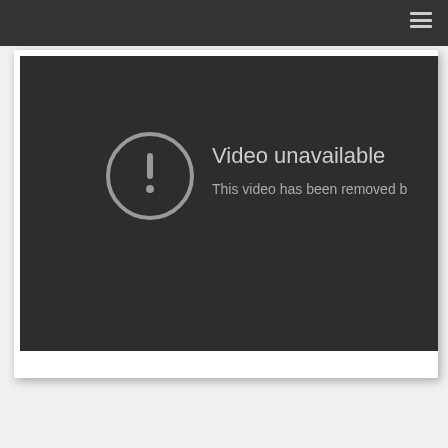[Figure (screenshot): YouTube-style 'Video unavailable' error screen. Dark background (#2d2d2d) with a circular warning icon (circle with exclamation mark) on the left, and text 'Video unavailable' and 'This video has been removed b...' on the right in light grey. The screen is embedded in a white card with a shadow, shown within a page that has a dark navigation bar at the top with a hamburger menu icon.]